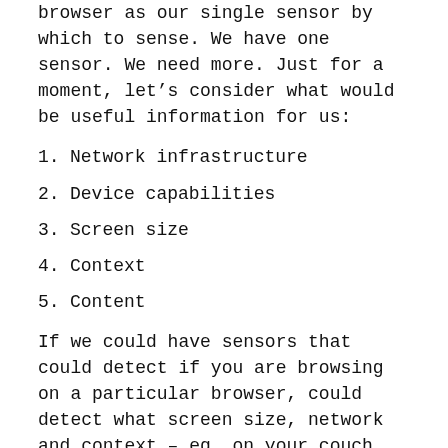browser as our single sensor by which to sense. We have one sensor. We need more. Just for a moment, let's consider what would be useful information for us:
1. Network infrastructure
2. Device capabilities
3. Screen size
4. Context
5. Content
If we could have sensors that could detect if you are browsing on a particular browser, could detect what screen size, network and context – eg. on your couch, on a train in a certain geo-locale – we'd be going in the direction of Responsive Architecture and Responsive Design generally. As it stands ––